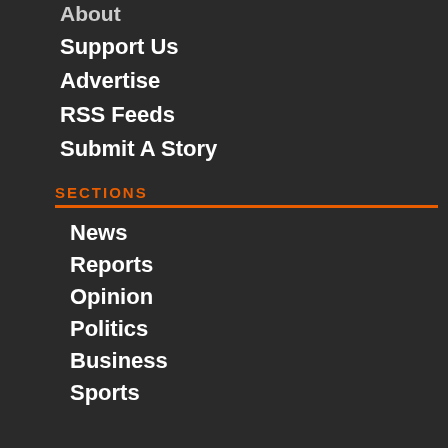About
Support Us
Advertise
RSS Feeds
Submit A Story
SECTIONS
News
Reports
Opinion
Politics
Business
Sports